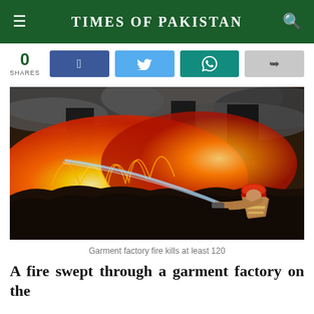TIMES OF PAKISTAN
0 SHARES
[Figure (photo): A firefighter in a red helmet spraying water on a massive fire at a garment factory, with intense orange flames and black smoke filling the scene.]
Garment factory fire kills at least 120
A fire swept through a garment factory on the